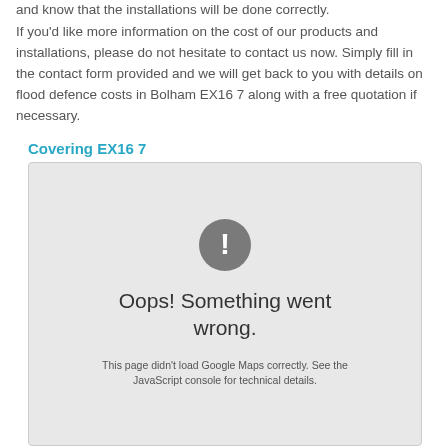and know that the installations will be done correctly.
If you'd like more information on the cost of our products and installations, please do not hesitate to contact us now. Simply fill in the contact form provided and we will get back to you with details on flood defence costs in Bolham EX16 7 along with a free quotation if necessary.
Covering EX16 7
[Figure (screenshot): Google Maps error placeholder showing a grey box with an exclamation mark icon and the message 'Oops! Something went wrong.' and subtext 'This page didn't load Google Maps correctly. See the JavaScript console for technical details.']